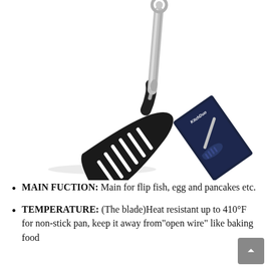[Figure (photo): A black slotted spatula/turner with a stainless steel handle, shown at a diagonal angle. Next to it is its product packaging box (dark navy/black) showing the KitchDuo brand name and the same spatula on the box front. The spatula has a wide flat nylon/silicone slotted head with multiple slots for draining and a cylindrical stainless steel handle with a hanging loop at the top.]
MAIN FUCTION: Main for flip fish, egg and pancakes etc.
TEMPERATURE: (The blade)Heat resistant up to 410°F for non-stick pan, keep it away from "open wire" like baking food